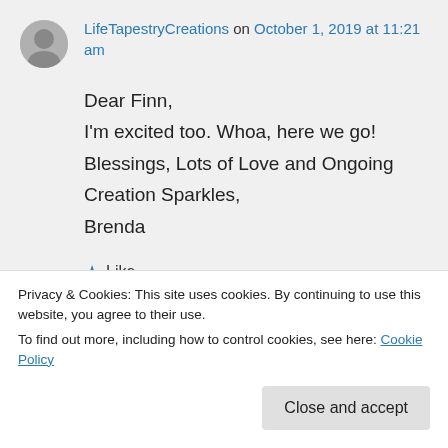LifeTapestryCreations on October 1, 2019 at 11:21 am
Dear Finn,
I'm excited too. Whoa, here we go!
Blessings, Lots of Love and Ongoing Creation Sparkles,
Brenda
★ Like
↩ Reply
Privacy & Cookies: This site uses cookies. By continuing to use this website, you agree to their use.
To find out more, including how to control cookies, see here: Cookie Policy
Close and accept